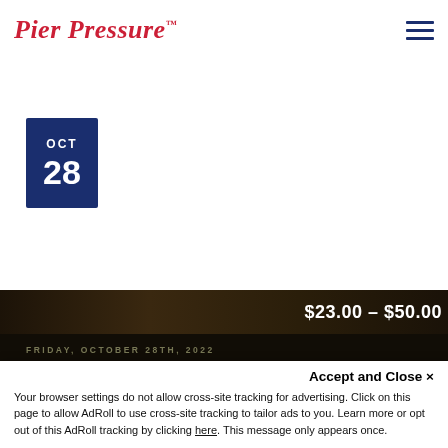Pier Pressure™
[Figure (logo): Pier Pressure logo in red italic script with trademark symbol, and hamburger menu icon (three navy lines) on the right]
OCT
28
[Figure (photo): Dark sepia-toned image strip at bottom showing event scene, with price $23.00–$50.00 displayed and event label text]
FRIDAY, OCTOBER 28TH, 2022
Accept and Close ×
Your browser settings do not allow cross-site tracking for advertising. Click on this page to allow AdRoll to use cross-site tracking to tailor ads to you. Learn more or opt out of this AdRoll tracking by clicking here. This message only appears once.